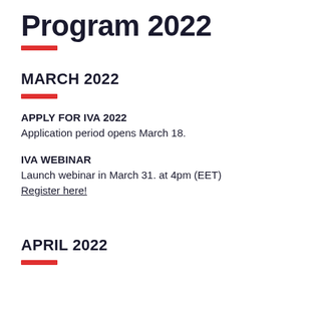Program 2022
MARCH 2022
APPLY FOR IVA 2022
Application period opens March 18.
IVA WEBINAR
Launch webinar in March 31. at 4pm (EET)
Register here!
APRIL 2022